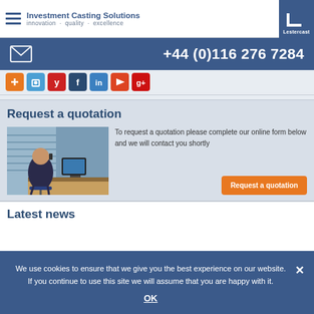Investment Casting Solutions · innovation · quality · excellence
+44 (0)116 276 7284
[Figure (screenshot): Social media sharing icons row (orange, blue, red, dark blue, blue, orange-red, red)]
Request a quotation
[Figure (photo): Man sitting at a desk on the phone in an office environment]
To request a quotation please complete our online form below and we will contact you shortly
Request a quotation
Latest news
We use cookies to ensure that we give you the best experience on our website. If you continue to use this site we will assume that you are happy with it.
OK